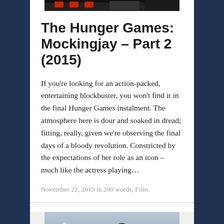[Figure (photo): Top portion of a film still image, partially cropped at top of page]
The Hunger Games: Mockingjay – Part 2 (2015)
If you're looking for an action-packed, entertaining blockbuster, you won't find it in the final Hunger Games instalment. The atmosphere here is dour and soaked in dread; fitting, really, given we're observing the final days of a bloody revolution. Constricted by the expectations of her role as an icon – much like the actress playing…
November 22, 2015 in 200 words, Film.
[Figure (photo): Film still showing two women, one with long hair and glasses, one in military cap, with mountains in background]